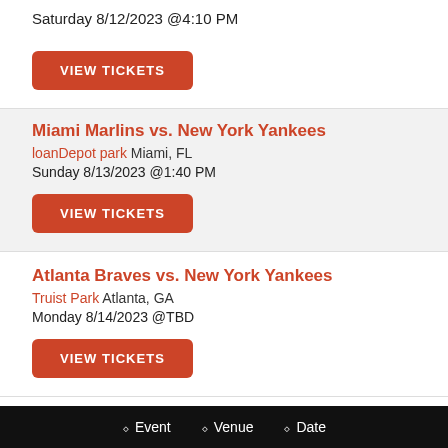Saturday 8/12/2023 @4:10 PM
VIEW TICKETS
Miami Marlins vs. New York Yankees
loanDepot park Miami, FL
Sunday 8/13/2023 @1:40 PM
VIEW TICKETS
Atlanta Braves vs. New York Yankees
Truist Park Atlanta, GA
Monday 8/14/2023 @TBD
VIEW TICKETS
Atlanta Braves vs. New York Yankees
Event   Venue   Date